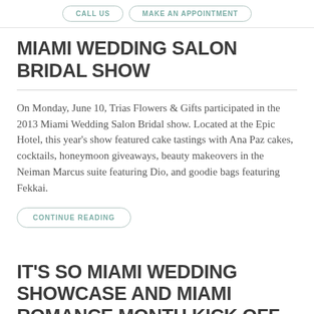CALL US   MAKE AN APPOINTMENT
MIAMI WEDDING SALON BRIDAL SHOW
On Monday, June 10, Trias Flowers & Gifts participated in the 2013 Miami Wedding Salon Bridal show. Located at the Epic Hotel, this year's show featured cake tastings with Ana Paz cakes, cocktails, honeymoon giveaways, beauty makeovers in the Neiman Marcus suite featuring Dio, and goodie bags featuring Fekkai.
CONTINUE READING
IT'S SO MIAMI WEDDING SHOWCASE AND MIAMI ROMANCE MONTH KICK OFF